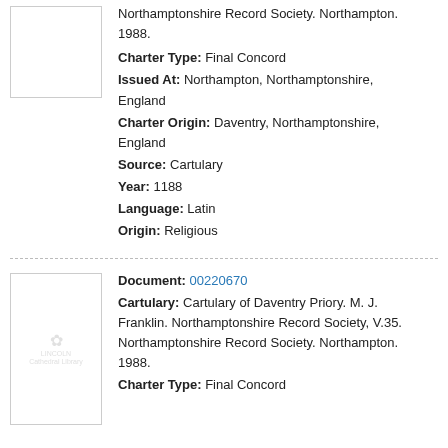Northamptonshire Record Society. Northampton. 1988.
Charter Type: Final Concord
Issued At: Northampton, Northamptonshire, England
Charter Origin: Daventry, Northamptonshire, England
Source: Cartulary
Year: 1188
Language: Latin
Origin: Religious
[Figure (illustration): Thumbnail image of a book/document record with watermark logo]
Document: 00220670
Cartulary: Cartulary of Daventry Priory. M. J. Franklin. Northamptonshire Record Society, V.35. Northamptonshire Record Society. Northampton. 1988.
Charter Type: Final Concord